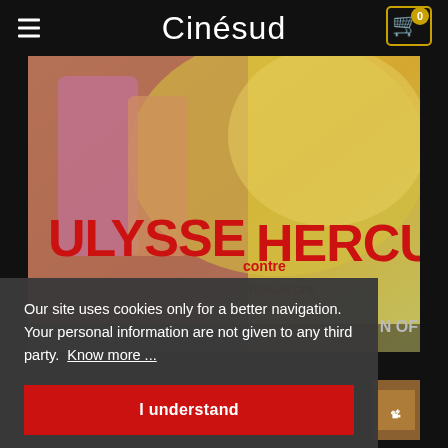Cinésud
[Figure (photo): Movie poster for 'Ulysse contre Hercule' in Eastmancolor - Totalscope, featuring illustrated figures in ancient costume with bold red and yellow text. Credits include Alessandra Panaro, Dominique Boschero, Gianni Santuccio.]
Our site uses cookies only for a better navigation. Your personal information are not given to any third party.  Know more ...
I understand